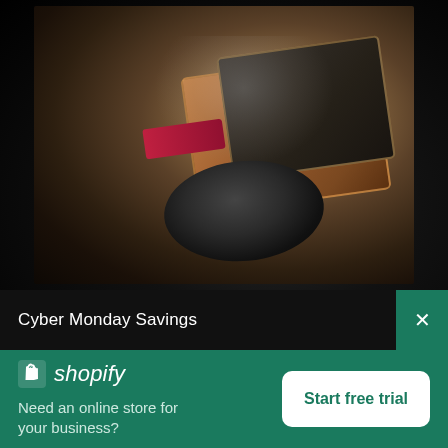[Figure (photo): Blurred overhead photo of dark electronics/objects on a wooden surface, including what appears to be a framed chalkboard image, a red card/label, and a round black object.]
Cyber Monday Savings
[Figure (logo): Shopify logo: white shopping bag icon with 'S' and italic white text 'shopify']
Need an online store for your business?
Start free trial